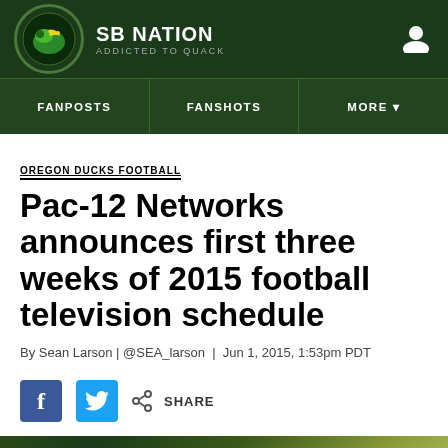SB NATION / ADDICTED TO QUACK
OREGON DUCKS FOOTBALL
Pac-12 Networks announces first three weeks of 2015 football television schedule
By Sean Larson | @SEA_larson | Jun 1, 2015, 1:53pm PDT
SHARE